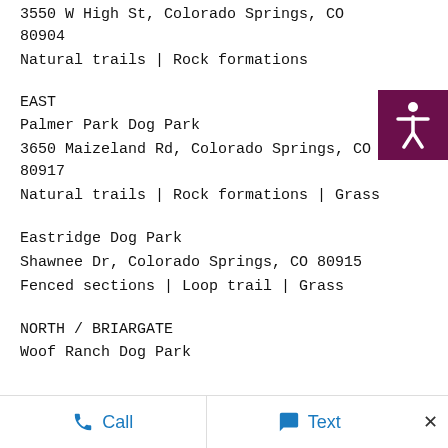3550 W High St, Colorado Springs, CO 80904
Natural trails | Rock formations
EAST
Palmer Park Dog Park
3650 Maizeland Rd, Colorado Springs, CO 80917
Natural trails | Rock formations | Grass
Eastridge Dog Park
Shawnee Dr, Colorado Springs, CO 80915
Fenced sections | Loop trail | Grass
NORTH / BRIARGATE
Woof Ranch Dog Park
Call  Text  ×